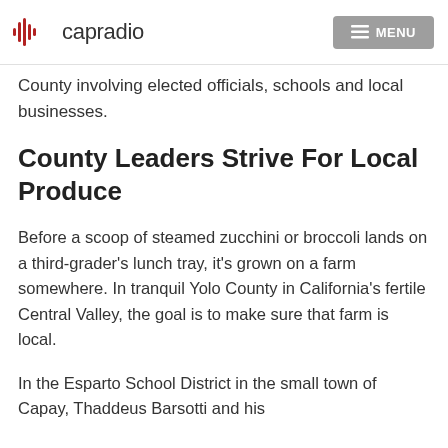capradio MENU
County involving elected officials, schools and local businesses.
County Leaders Strive For Local Produce
Before a scoop of steamed zucchini or broccoli lands on a third-grader's lunch tray, it's grown on a farm somewhere. In tranquil Yolo County in California's fertile Central Valley, the goal is to make sure that farm is local.
In the Esparto School District in the small town of Capay, Thaddeus Barsotti and his